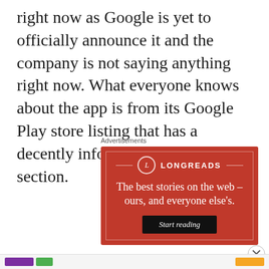right now as Google is yet to officially announce it and the company is not saying anything right now. What everyone knows about the app is from its Google Play store listing that has a decently informative about section.
Advertisements
[Figure (illustration): Longreads advertisement banner with red background, circle logo with L, tagline 'The best stories on the web – ours, and everyone else's.' and a 'Start reading' button.]
Advertisements